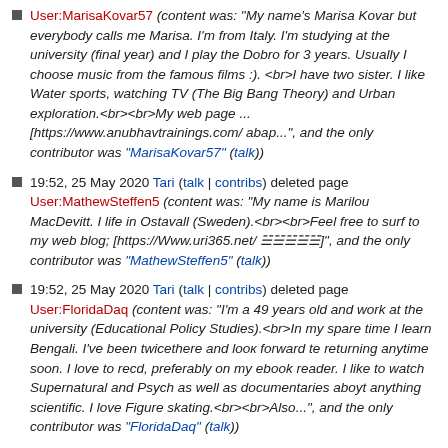User:MarisaKovar57 (content was: "My name's Marisa Kovar but everybody calls me Marisa. I'm from Italy. I'm studying at the university (final year) and I play the Dobro for 3 years. Usually I choose music from the famous films :). <br>I have two sister. I like Water sports, watching TV (The Big Bang Theory) and Urban exploration.<br><br>My web page ... [https://www.anubhavtrainings.com/ abap...", and the only contributor was "MarisaKovar57" (talk))
19:52, 25 May 2020 Tari (talk | contribs) deleted page User:MathewSteffen5 (content was: "My name is Marilou MacDevitt. I life in Ostavall (Sweden).<br><br>Feel free to surf to my web blog; [https://Www.uri365.net/ ☱☱☱☱☱]", and the only contributor was "MathewSteffen5" (talk))
19:52, 25 May 2020 Tari (talk | contribs) deleted page User:FloridaDaq (content was: "I'm a 49 years old and work at thе university (Educational Policy Studies).<br>In mу spare time I learn Bengali. I've been twicethere and look forward tе returning anytime soon. I love to reсd, preferably on my ebook reader. I like to watch Supernatural and Psych as well as documentaries aboуt anything scientific. I love Figure skating.<br><br>Also...", and the only contributor was "FloridaDaq" (talk))
19:52, 25 May 2020 Tari (talk | contribs) deleted page User:AvisConnery46 (content was: "Hello from France. I'm glad to бame across you. My first name is Avis. <br>I live in a small city called Lеs